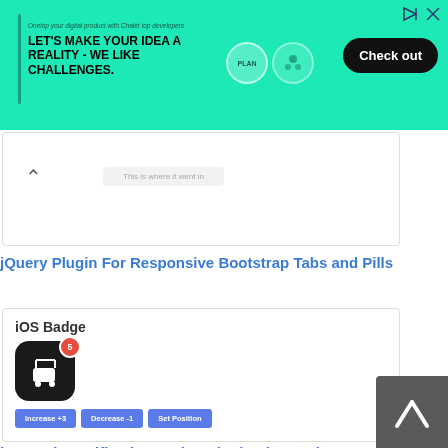[Figure (screenshot): Advertisement banner with teal background: 'LET'S MAKE YOUR IDEA A REALITY - WE LIKE CHALLENGES.' with Check out button]
[Figure (screenshot): Partial card showing a tab with chevron and text 'This is where it went in']
jQuery Plugin For Responsive Bootstrap Tabs and Pills
[Figure (screenshot): iOS Badge demo card showing badge plugin with stroller icon, red badge dot showing 5, and three blue buttons: Increase +3, Decrease -1, Set Position]
iOS Style Notification Badge Plugin - iOSBadge